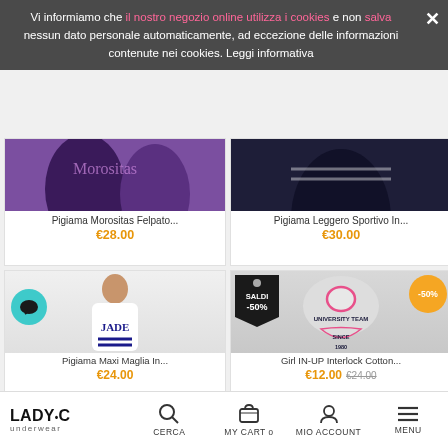[Figure (screenshot): E-commerce product listing page for Lady C Underwear showing pajama products with cookie consent banner overlay]
Vi informiamo che il nostro negozio online utilizza i cookies e non salva nessun dato personale automaticamente, ad eccezione delle informazioni contenute nei cookies.
Leggi informativa
Pigiama Morositas Felpato...
€28.00
Pigiama Leggero Sportivo In...
€30.00
Pigiama Maxi Maglia In...
€24.00
Girl IN-UP Interlock Cotton...
€12.00  €24.00
LADY•C underwear  CERCA  MY CART 0  MIO ACCOUNT  MENU